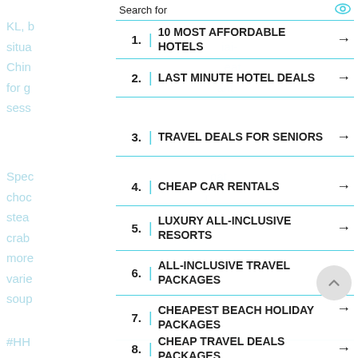KL, but you are in the unfortunate situation that it a Thai-Chinese Dining steamboat restaurant that is great for group gatherings, business lunches, sessions
1. | 10 MOST AFFORDABLE HOTELS →
2. | LAST MINUTE HOTEL DEALS →
3. | TRAVEL DEALS FOR SENIORS →
Specialises in barbeque and shabu shabu style steamboat, choose over 100 different dishes to cook in your steaming broth, such as the fresh seafood such as crab and squid balls and a whole lot more... All meals come with a variety of soup bases that you can pick from, chicken soup
4. | CHEAP CAR RENTALS →
5. | LUXURY ALL-INCLUSIVE RESORTS →
6. | ALL-INCLUSIVE TRAVEL PACKAGES →
7. | CHEAPEST BEACH HOLIDAY PACKAGES →
#HH to dip your style
8. | CHEAP TRAVEL DEALS PACKAGES →